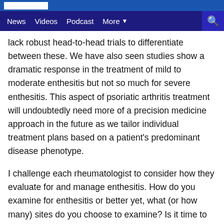News  Videos  Podcast  More
lack robust head-to-head trials to differentiate between these. We have also seen studies show a dramatic response in the treatment of mild to moderate enthesitis but not so much for severe enthesitis. This aspect of psoriatic arthritis treatment will undoubtedly need more of a precision medicine approach in the future as we tailor individual treatment plans based on a patient's predominant disease phenotype.
I challenge each rheumatologist to consider how they evaluate for and manage enthesitis. How do you examine for enthesitis or better yet, what (or how many) sites do you choose to examine? Is it time to expand to more sites? Should we use imaging modalities like ultrasound more often to